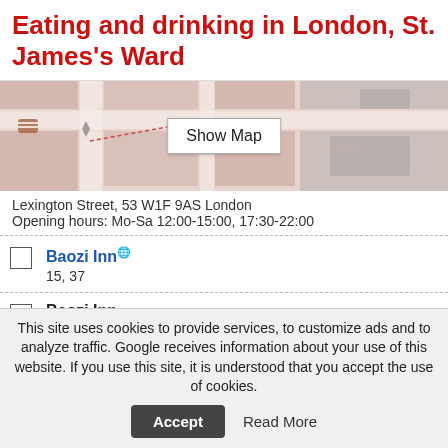Eating and drinking in London, St. James's Ward
[Figure (map): Partial map of London street area with a 'Show Map' button overlay]
Lexington Street, 53 W1F 9AS London
Opening hours: Mo-Sa 12:00-15:00, 17:30-22:00
Baozi Inn [external link]
15, 37
Baozi Inn
Newport Court, 25-26 WC2H 7JS London
Bar Shu
Frith Street, 31
Phone: +44 20 7287 8822
Barrafina [external link]
Adelaide Street, 10 WC2N 4HZ London
This site uses cookies to provide services, to customize ads and to analyze traffic. Google receives information about your use of this website. If you use this site, it is understood that you accept the use of cookies.